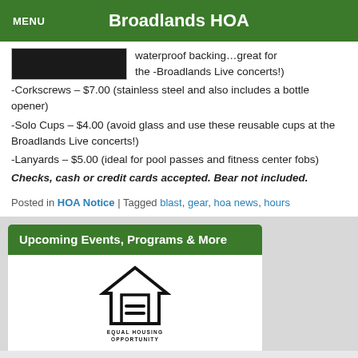MENU   Broadlands HOA
[Figure (photo): Partial dark image visible at top of content card]
waterproof backing…great for the -Broadlands Live concerts!)
-Corkscrews – $7.00 (stainless steel and also includes a bottle opener)
-Solo Cups – $4.00 (avoid glass and use these reusable cups at the Broadlands Live concerts!)
-Lanyards – $5.00 (ideal for pool passes and fitness center fobs)
Checks, cash or credit cards accepted. Bear not included.
Posted in HOA Notice | Tagged blast, gear, hoa news, hours
Upcoming Events, Programs & More
[Figure (logo): Equal Housing Opportunity logo — house outline with equals sign inside, text EQUAL HOUSING OPPORTUNITY below]